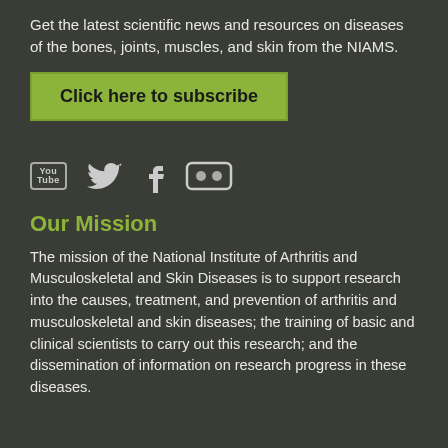Get the latest scientific news and resources on diseases of the bones, joints, muscles, and skin from the NIAMS.
[Figure (other): Green 'Click here to subscribe' button]
[Figure (other): Social media icons: YouTube, Twitter, Facebook, Flickr]
Our Mission
The mission of the National Institute of Arthritis and Musculoskeletal and Skin Diseases is to support research into the causes, treatment, and prevention of arthritis and musculoskeletal and skin diseases; the training of basic and clinical scientists to carry out this research; and the dissemination of information on research progress in these diseases.